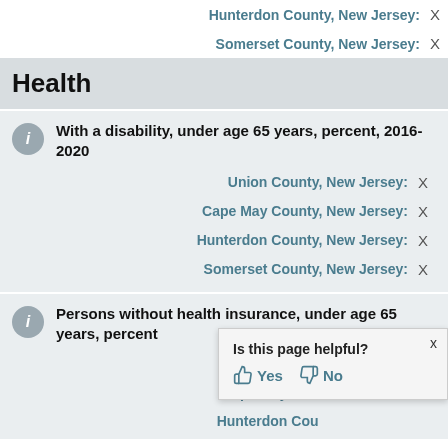Hunterdon County, New Jersey: X
Somerset County, New Jersey: X
Health
With a disability, under age 65 years, percent, 2016-2020
Union County, New Jersey: X
Cape May County, New Jersey: X
Hunterdon County, New Jersey: X
Somerset County, New Jersey: X
Persons without health insurance, under age 65 years, percent
Union County, New Jersey: X
Cape May County, New Jersey:
Hunterdon County, New Jersey:
[Figure (other): Is this page helpful? Yes / No popup dialog with thumbs up and thumbs down icons]